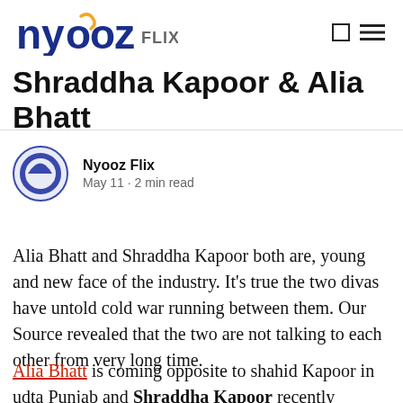nyooz FLIX
Shraddha Kapoor & Alia Bhatt
Nyooz Flix
May 11 · 2 min read
Alia Bhatt and Shraddha Kapoor both are, young and new face of the industry. It's true the two divas have untold cold war running between them. Our Source revealed that the two are not talking to each other from very long time.
Alia Bhatt is coming opposite to shahid Kapoor in udta Punjab and Shraddha Kapoor recently